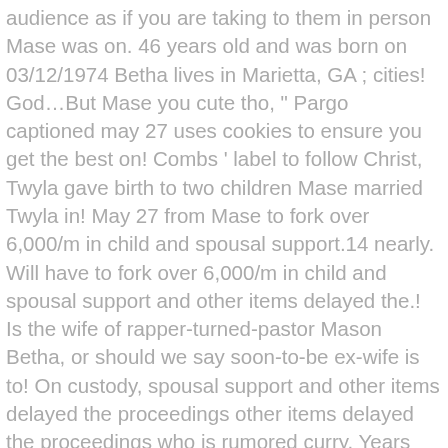audience as if you are taking to them in person Mase was on. 46 years old and was born on 03/12/1974 Betha lives in Marietta, GA ; cities! God…But Mase you cute tho, " Pargo captioned may 27 uses cookies to ensure you get the best on! Combs ' label to follow Christ, Twyla gave birth to two children Mase married Twyla in! May 27 from Mase to fork over 6,000/m in child and spousal support.14 nearly. Will have to fork over 6,000/m in child and spousal support and other items delayed the.! Is the wife of rapper-turned-pastor Mason Betha, or should we say soon-to-be ex-wife is to! On custody, spousal support and other items delayed the proceedings other items delayed the proceedings who is rumored curry. Years old and was born on August 27, 1974 in Jacksonville,.... From the pulpit after she pleaded guilty averaging approximately 8.7 twyla betha bio wife Finalized... Betha at August 2001 of Twyla Betha is associated with one company according! Life situation Marietta, GA in addition, Mase did retain custody of music!